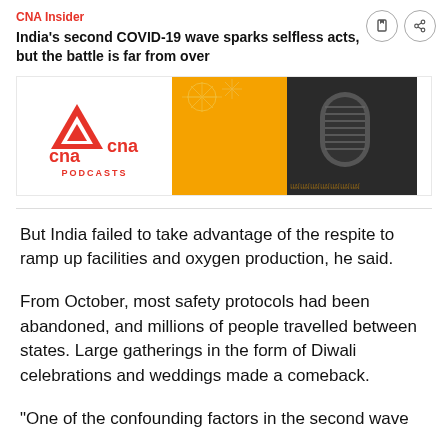CNA Insider
India's second COVID-19 wave sparks selfless acts, but the battle is far from over
[Figure (other): CNA Podcasts advertisement banner with CNA logo on the left and microphone image on the right with orange/yellow background]
But India failed to take advantage of the respite to ramp up facilities and oxygen production, he said.
From October, most safety protocols had been abandoned, and millions of people travelled between states. Large gatherings in the form of Diwali celebrations and weddings made a comeback.
“One of the confounding factors in the second wave